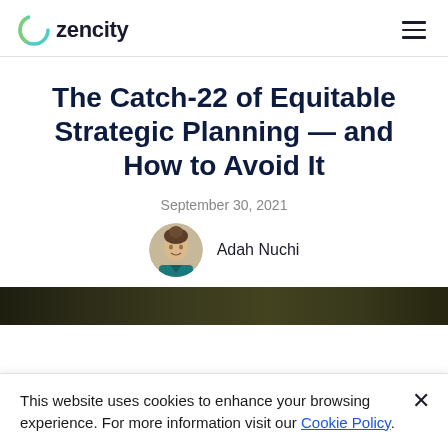zencity
The Catch-22 of Equitable Strategic Planning — and How to Avoid It
September 30, 2021
Adah Nuchi
[Figure (photo): Outdoor nature/park scene hero image strip]
This website uses cookies to enhance your browsing experience. For more information visit our Cookie Policy.